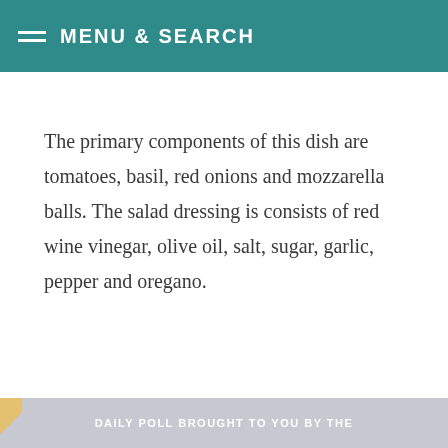MENU & SEARCH
The primary components of this dish are tomatoes, basil, red onions and mozzarella balls. The salad dressing is consists of red wine vinegar, olive oil, salt, sugar, garlic, pepper and oregano.
DAILY POLL BROUGHT TO YOU BY THE